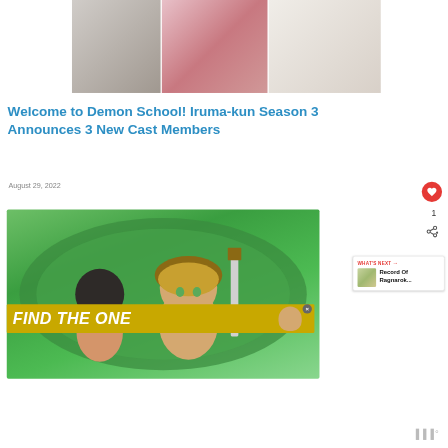[Figure (photo): Three photos in a horizontal strip showing people: a person in dark clothing, a person in pink/red, and a person in white shirt]
Welcome to Demon School! Iruma-kun Season 3 Announces 3 New Cast Members
August 29, 2022
[Figure (screenshot): Anime screenshot from Made in Abyss showing two chibi-style anime characters with a large knife in a green circular environment]
[Figure (infographic): What's Next panel showing 'Record Of Ragnarok...' with thumbnail]
[Figure (photo): Advertisement banner with golden/yellow background reading FIND THE ONE with a dog image]